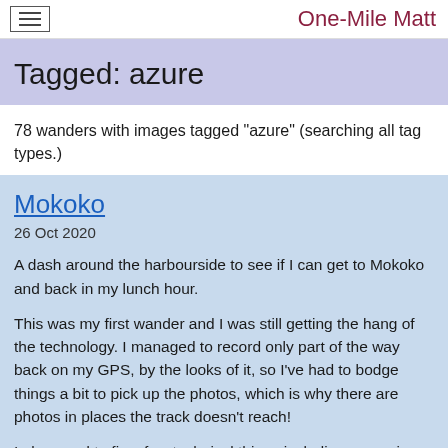One-Mile Matt
Tagged: azure
78 wanders with images tagged "azure" (searching all tag types.)
Mokoko
26 Oct 2020
A dash around the harbourside to see if I can get to Mokoko and back in my lunch hour.
This was my first wander and I was still getting the hang of the technology. I managed to record only part of the way back on my GPS, by the looks of it, so I've had to bodge things a bit to pick up the photos, which is why there are photos in places the track doesn't reach!
I also need to fix a few technical things including managing my photo timezones more carefully. This